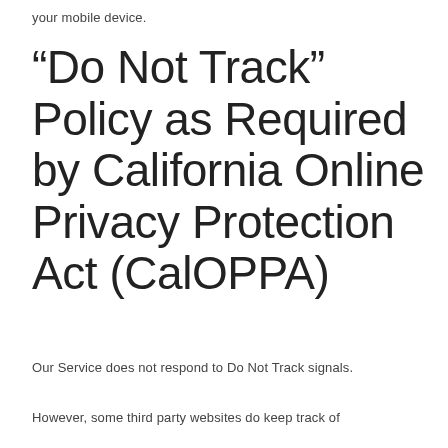your mobile device.
“Do Not Track” Policy as Required by California Online Privacy Protection Act (CalOPPA)
Our Service does not respond to Do Not Track signals.
However, some third party websites do keep track of